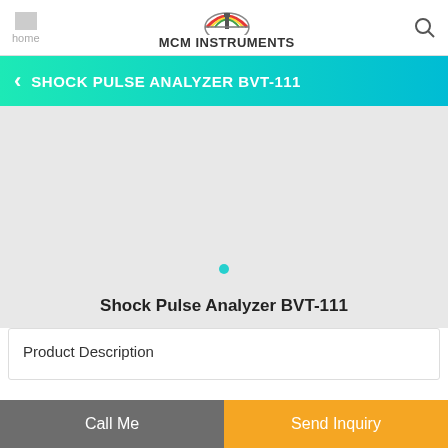MCM INSTRUMENTS
SHOCK PULSE ANALYZER BVT-111
[Figure (other): Gray product image placeholder area with a single teal dot indicator]
Shock Pulse Analyzer BVT-111
Product Description
Call Me | Send Inquiry